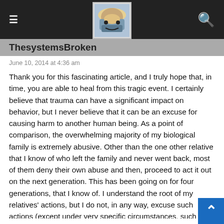ThesystemsBroken
June 10, 2014 at 4:36 am
Thank you for this fascinating article, and I truly hope that, in time, you are able to heal from this tragic event. I certainly believe that trauma can have a significant impact on behavior, but I never believe that it can be an excuse for causing harm to another human being. As a point of comparison, the overwhelming majority of my biological family is extremely abusive. Other than the one other relative that I know of who left the family and never went back, most of them deny their own abuse and then, proceed to act it out on the next generation. This has been going on for four generations, that I know of. I understand the root of my relatives' actions, but I do not, in any way, excuse such actions (except under very specific circumstances, such as when I've seen very young children who truly did not understand what they were doing act out in this way). I made a choice to leave most of this family behind and do everything in my power to find safety and